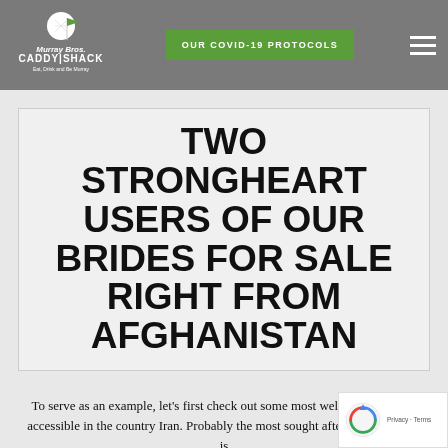[Figure (logo): Murray Bros Caddy Shack logo with golf ball and flag graphic, tagline 'Eat, Drink and Be Murray']
OUR COVID-19 PROTOCOLS
TWO STRONGHEART USERS OF OUR BRIDES FOR SALE RIGHT FROM AFGHANISTAN
To serve as an example, let's first check out some most well-known brides accessible in the country Iran. Probably the most sought after Iranian brides is